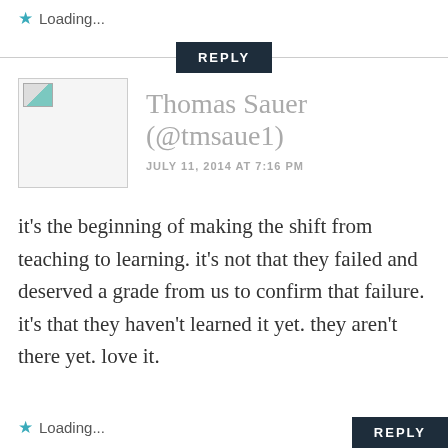Loading...
REPLY
Thomas Sauer (@tmsaue1)
JULY 11, 2014 AT 7:16 PM
it's the beginning of making the shift from teaching to learning. it's not that they failed and deserved a grade from us to confirm that failure. it's that they haven't learned it yet. they aren't there yet. love it.
Loading...